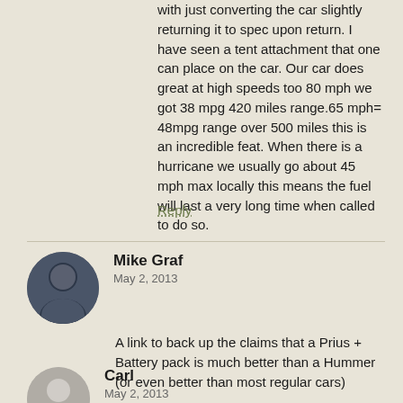with just converting the car slightly returning it to spec upon return. I have seen a tent attachment that one can place on the car. Our car does great at high speeds too 80 mph we got 38 mpg 420 miles range.65 mph= 48mpg range over 500 miles this is an incredible feat. When there is a hurricane we usually go about 45 mph max locally this means the fuel will last a very long time when called to do so.
Reply
Mike Graf
May 2, 2013
A link to back up the claims that a Prius + Battery pack is much better than a Hummer (or even better than most regular cars)
http://www.vancouverobserver.com/blogs/climatesnaps hot/do-electric-cars-cause-more-or-less-climate-pollution-gasoline-cars-take-look
Reply
Carl
May 2, 2013